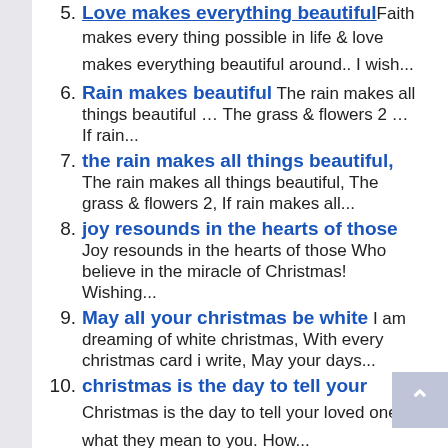makes every thing possible in life & love makes everything beautiful around.. I wish...
Rain makes beautiful The rain makes all things beautiful … The grass & flowers 2 … If rain...
the rain makes all things beautiful, The rain makes all things beautiful, The grass & flowers 2, If rain makes all...
joy resounds in the hearts of those Joy resounds in the hearts of those Who believe in the miracle of Christmas! Wishing...
May all your christmas be white I am dreaming of white christmas, With every christmas card i write, May your days...
christmas is the day to tell your Christmas is the day to tell your loved ones what they mean to you. How...